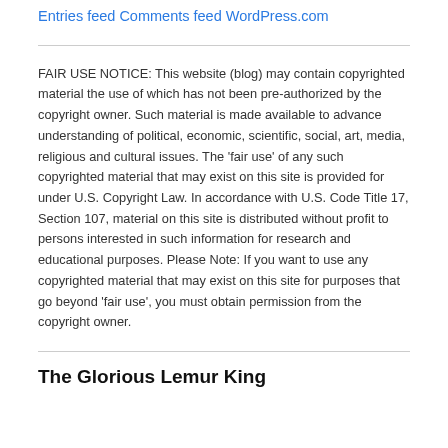Entries feed
Comments feed
WordPress.com
FAIR USE NOTICE: This website (blog) may contain copyrighted material the use of which has not been pre-authorized by the copyright owner. Such material is made available to advance understanding of political, economic, scientific, social, art, media, religious and cultural issues. The 'fair use' of any such copyrighted material that may exist on this site is provided for under U.S. Copyright Law. In accordance with U.S. Code Title 17, Section 107, material on this site is distributed without profit to persons interested in such information for research and educational purposes. Please Note: If you want to use any copyrighted material that may exist on this site for purposes that go beyond 'fair use', you must obtain permission from the copyright owner.
The Glorious Lemur King